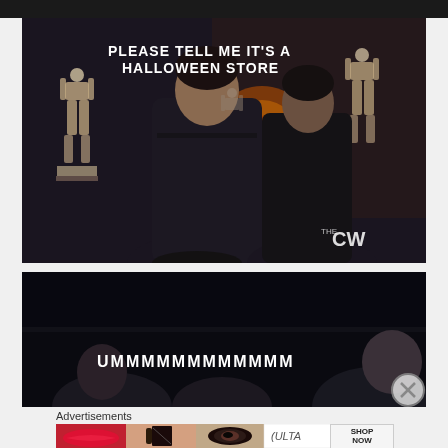[Figure (screenshot): TV screenshot from CW show with two men in dark clothing standing among skeleton decorations. Text overlay reads 'PLEASE TELL ME IT'S A HALLOWEEN STORE'. CW logo visible bottom right.]
[Figure (screenshot): Second TV screenshot showing partial view of scene with people, dark background. Text overlay reads 'UMMMMMMMMMMMM'. Close/X button visible bottom right.]
Advertisements
[Figure (photo): Advertisement banner showing Ulta Beauty ad with close-up makeup/beauty images and SHOP NOW text]